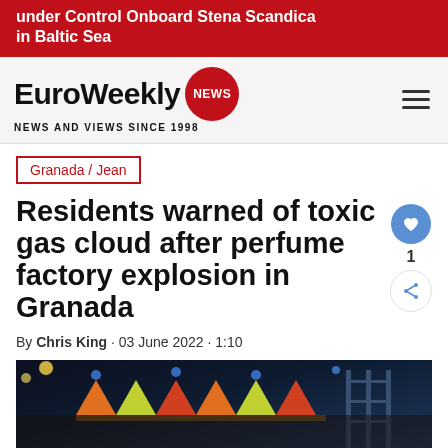under Control Onboard Stena Scandica in Baltic Sea
[Figure (logo): EuroWeekly NEWS logo with red circular badge and tagline NEWS AND VIEWS SINCE 1998]
Granada / Jean
Residents warned of toxic gas cloud after perfume factory explosion in Granada
By Chris King · 03 June 2022 · 1:10
[Figure (photo): Nighttime photo of outdoor festival or market stalls with colorful tents and blue lights]